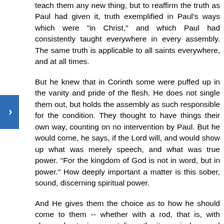teach them any new thing, but to reaffirm the truth as Paul had given it, truth exemplified in Paul's ways which were "in Christ," and which Paul had consistently taught everywhere in every assembly. The same truth is applicable to all saints everywhere, and at all times.
But he knew that in Corinth some were puffed up in the vanity and pride of the flesh. He does not single them out, but holds the assembly as such responsible for the condition. They thought to have things their own way, counting on no intervention by Paul. But he would come, he says, if the Lord will, and would show up what was merely speech, and what was true power. "For the kingdom of God is not in word, but in power." How deeply important a matter is this sober, sound, discerning spiritual power.
And He gives them the choice as to how he should come to them -- whether with a rod, that is, with sharp, chastening apostolic authority; or in love and the spirit of meekness. In the former, certainly love would not be lacking, but it could not be free and affectionate in its expression. And meek submission would be out of place